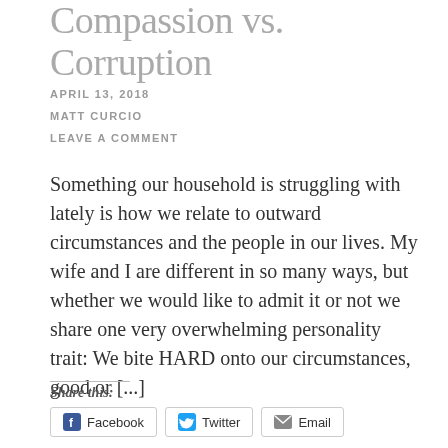Compassion vs. Corruption
APRIL 13, 2018
MATT CURCIO
LEAVE A COMMENT
Something our household is struggling with lately is how we relate to outward circumstances and the people in our lives. My wife and I are different in so many ways, but whether we would like to admit it or not we share one very overwhelming personality trait: We bite HARD onto our circumstances, good or [...]
Share this: